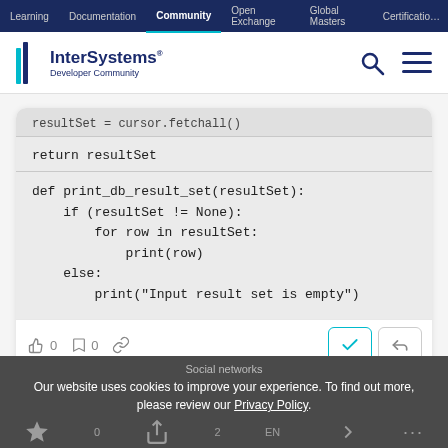Learning | Documentation | Community | Open Exchange | Global Masters | Certification
[Figure (logo): InterSystems Developer Community logo with search and menu icons]
resultSet = cursor.fetchall()
return resultSet
def print_db_result_set(resultSet):
    if (resultSet != None):
        for row in resultSet:
            print(row)
    else:
        print("Input result set is empty")
0  0
Social networks
Our website uses cookies to improve your experience. To find out more, please review our Privacy Policy.